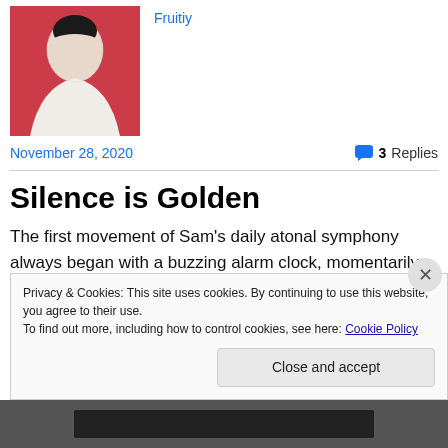[Figure (photo): Portrait photo of a person wearing a white ruffled/lace outfit against a red background]
Fruitiy
November 28, 2020
3 Replies
Silence is Golden
The first movement of Sam's daily atonal symphony always began with a buzzing alarm clock, momentarily silenced by his palm, which wouldn't work on the garbage
Privacy & Cookies: This site uses cookies. By continuing to use this website, you agree to their use.
To find out more, including how to control cookies, see here: Cookie Policy
Close and accept